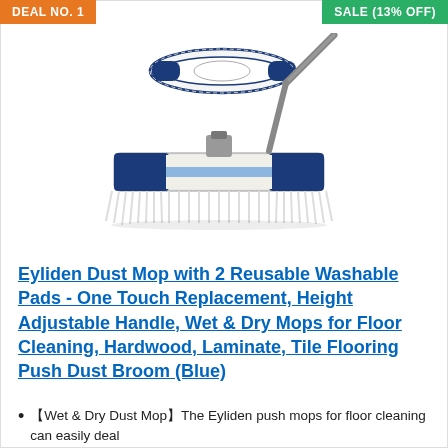DEAL NO. 1
SALE (13% OFF)
[Figure (photo): Eyliden dust mop product photo showing a mop head with blue and white fringe and a telescoping handle, along with a top-down view of the mop head]
Eyliden Dust Mop with 2 Reusable Washable Pads - One Touch Replacement, Height Adjustable Handle, Wet & Dry Mops for Floor Cleaning, Hardwood, Laminate, Tile Flooring Push Dust Broom (Blue)
【Wet & Dry Dust Mop】The Eyliden push mops for floor cleaning can easily deal